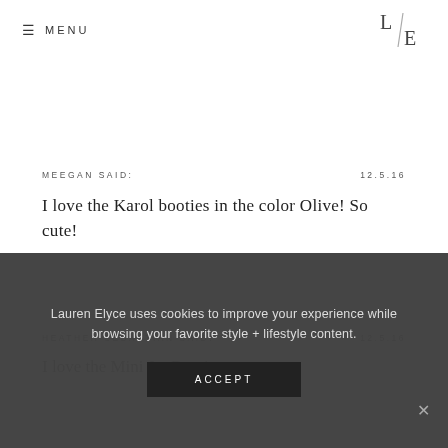☰ MENU  [L/E logo]
MEEGAN SAID:  12.5.16

I love the Karol booties in the color Olive! So cute!
HEATHER SEBASTIAN SAID:  12.5.16

I love the Mini Jet Booties...
Lauren Elyce uses cookies to improve your experience while browsing your favorite style + lifestyle content.
ACCEPT